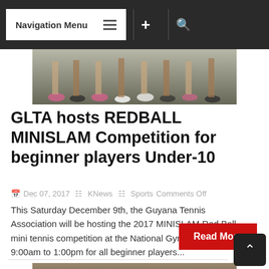Navigation Menu
[Figure (photo): Photo of children's feet and legs on a sports court, cropped at the top.]
GLTA hosts REDBALL MINISLAM Competition for beginner players Under-10
Dec 07, 2017   KNews   Sports   Comments Off
This Saturday December 9th, the Guyana Tennis Association will be hosting the 2017 MINISLAM Red Ball mini tennis competition at the National Gymnasium from 9:00am to 1:00pm for all beginner players...
[Figure (photo): Photo of a group of young athletes standing together outdoors, partially visible at bottom of page.]